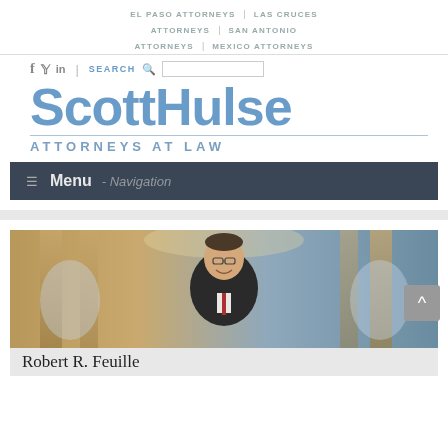EL PASO ATTORNEYS | LAS CRUCES ATTORNEYS | SAN ANTONIO ATTORNEYS | MEXICO ATTORNEYS
[Figure (logo): ScottHulse Attorneys at Law logo with social media icons and search bar]
Menu - Navigation
[Figure (photo): Professional headshot of Robert R. Feuille in a suit with red tie, photographed in a building interior]
Robert R. Feuille